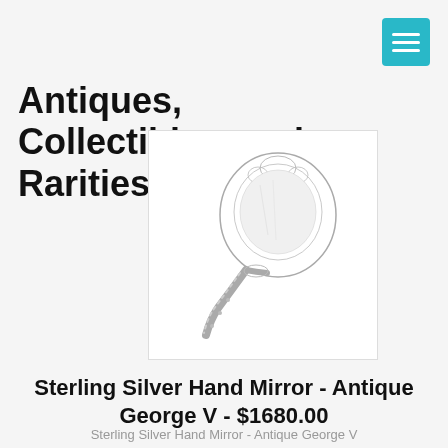Antiques, Collectibles, and Rarities
[Figure (photo): Photo of a sterling silver hand mirror with ornate decorative handle, antique George V style, shown at an angle on white background]
Sterling Silver Hand Mirror - Antique George V - $1680.00
Sterling Silver Hand Mirror - Antique George V